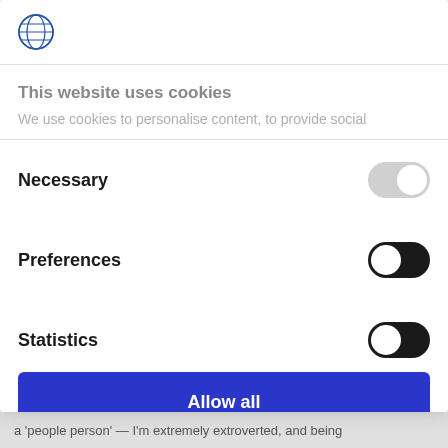[Figure (logo): Globe/world icon with blue circular design and 'Europa Fondi' or similar text around it]
This website uses cookies
We use cookies to personalise content, to provide social
Necessary
Preferences
Statistics
Allow all
Allow selection
a 'people person' — I'm extremely extroverted, and being